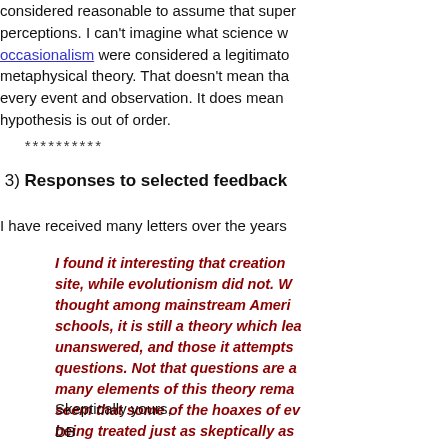considered reasonable to assume that super perceptions. I can't imagine what science w occasionalism were considered a legitimate metaphysical theory. That doesn't mean tha every event and observation. It does mean hypothesis is out of order.
**********
3) Responses to selected feedback
I have received many letters over the years
I found it interesting that creation site, while evolutionism did not. W thought among mainstream Ameri schools, it is still a theory which lea unanswered, and those it attempts questions. Not that questions are a many elements of this theory rema seem that some of the hoaxes of ev being treated just as skeptically as
Skeptically yours,
DB